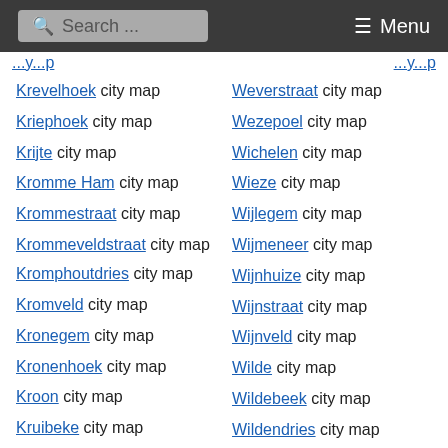Search ... Menu
Krevelhoek city map
Kriephoek city map
Krijte city map
Kromme Ham city map
Krommestraat city map
Krommeveldstraat city map
Kromphoutdries city map
Kromveld city map
Kronegem city map
Kronenhoek city map
Kroon city map
Kruibeke city map
Kruienberg city map
Weverstraat city map
Wezepoel city map
Wichelen city map
Wieze city map
Wijlegem city map
Wijmeneer city map
Wijnhuize city map
Wijnstraat city map
Wijnveld city map
Wilde city map
Wildebeek city map
Wildendries city map
Wildenhaan city map
Windgat city map